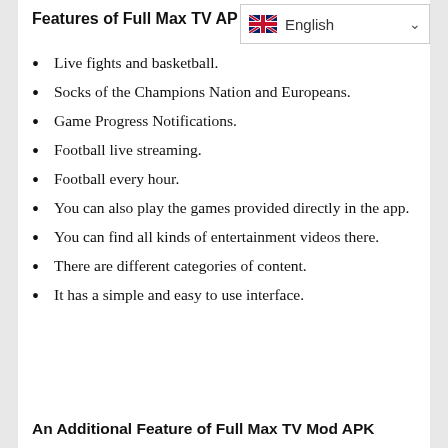Features of Full Max TV APK
Live fights and basketball.
Socks of the Champions Nation and Europeans.
Game Progress Notifications.
Football live streaming.
Football every hour.
You can also play the games provided directly in the app.
You can find all kinds of entertainment videos there.
There are different categories of content.
It has a simple and easy to use interface.
An Additional Feature of Full Max TV Mod APK